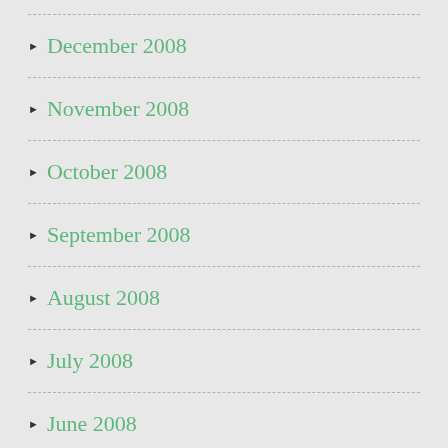December 2008
November 2008
October 2008
September 2008
August 2008
July 2008
June 2008